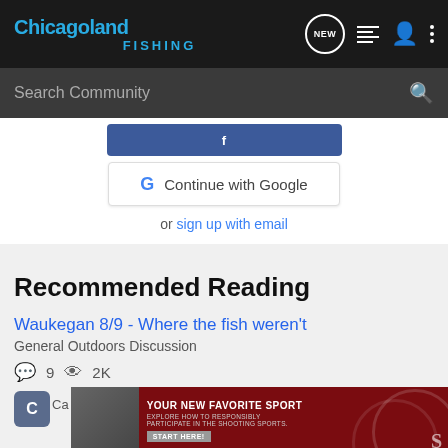Chicagoland FISHING
Search Community
[Figure (screenshot): Blue Facebook login button partially visible]
[Figure (screenshot): Continue with Google button with Google G logo]
or sign up with email
Recommended Reading
Waukegan 8/9 - Where the fish weren't
General Outdoors Discussion
9  2K
[Figure (screenshot): Ad banner: YOUR NEW FAVORITE SPORT - EXPLORE HOW TO RESPONSIBLY PARTICIPATE IN THE SHOOTING SPORTS. START HERE!]